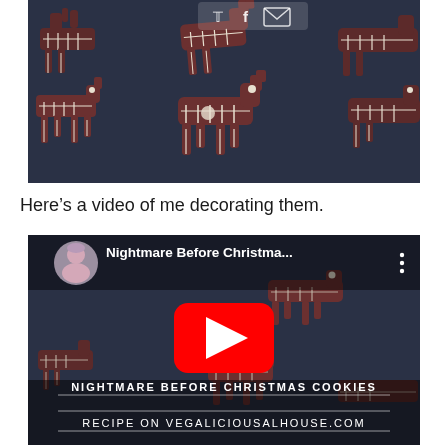[Figure (photo): Dark blue background with multiple chocolate gingerbread reindeer cookies decorated with white royal icing to look like skeletons, viewed from above. Social media share icons (Twitter F for Facebook, and envelope/email) are partially visible at the top.]
Here’s a video of me decorating them.
[Figure (screenshot): YouTube video thumbnail showing skeleton reindeer Christmas cookies on a dark background. The video title reads 'Nightmare Before Christma...' with a channel avatar of a woman with light purple hair. Overlaid text reads 'NIGHTMARE BEFORE CHRISTMAS COOKIES' and 'RECIPE ON VEGALICIOUSALHOUSE.COM' with a large red YouTube play button in the center.]